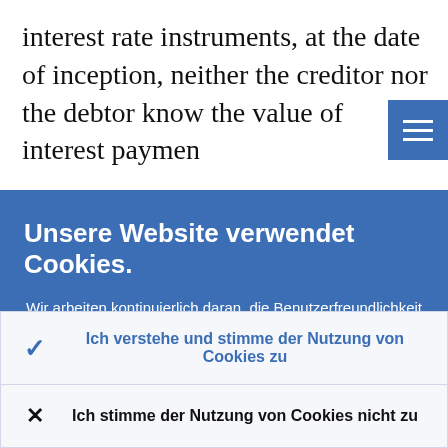interest rate instruments, at the date of inception, neither the creditor nor the debtor know the value of interest paymen
Unsere Website verwendet Cookies.
Wir arbeiten kontinuierlich daran, die Benutzerfreundlichkeit unserer Website zu verbessern. Zu diesem Zweck nutzen wir durch Cookies erfasste anonymisierte Daten.
Weitere Informationen zu unserer Nutzung von Cookies
Ich verstehe und stimme der Nutzung von Cookies zu
Ich stimme der Nutzung von Cookies nicht zu